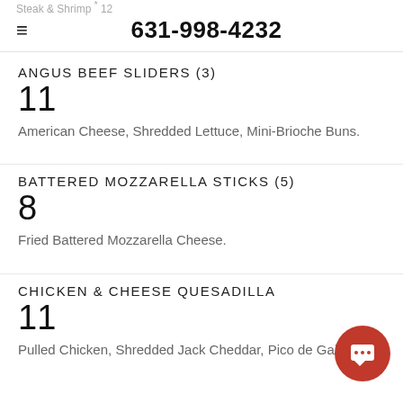Steak & Shrimp * 12  631-998-4232
ANGUS BEEF SLIDERS (3)
11
American Cheese, Shredded Lettuce, Mini-Brioche Buns.
BATTERED MOZZARELLA STICKS (5)
8
Fried Battered Mozzarella Cheese.
CHICKEN & CHEESE QUESADILLA
11
Pulled Chicken, Shredded Jack Cheddar, Pico de Gallo.